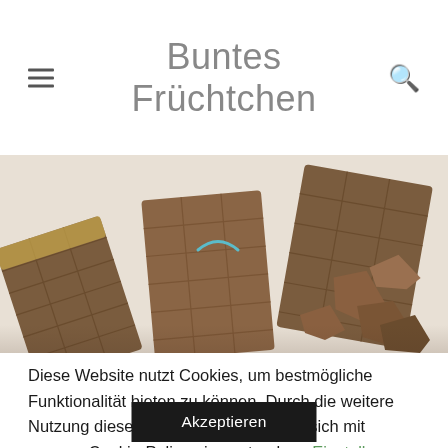Buntes Früchtchen
[Figure (photo): Photograph of dark chocolate bars broken into pieces on a white background, showing textured surfaces and shards.]
Diese Website nutzt Cookies, um bestmögliche Funktionalität bieten zu können. Durch die weitere Nutzung dieser Webseite erklären Sie sich mit unserer Cookie-Police einverstanden.
Einstellungen
Akzeptieren